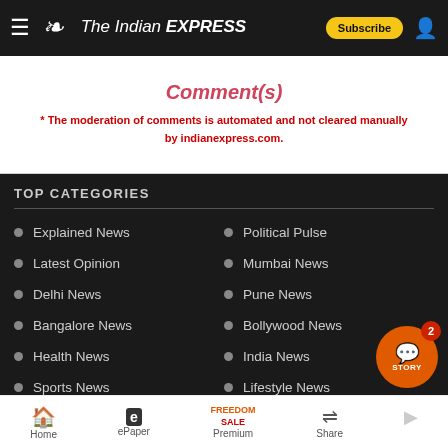The Indian EXPRESS — Subscribe
Comment(s)
* The moderation of comments is automated and not cleared manually by indianexpress.com.
TOP CATEGORIES
Explained News
Political Pulse
Latest Opinion
Mumbai News
Delhi News
Pune News
Bangalore News
Bollywood News
Health News
India News
Sports News
Lifestyle News
Home  ePaper  Premium  Share  STORY